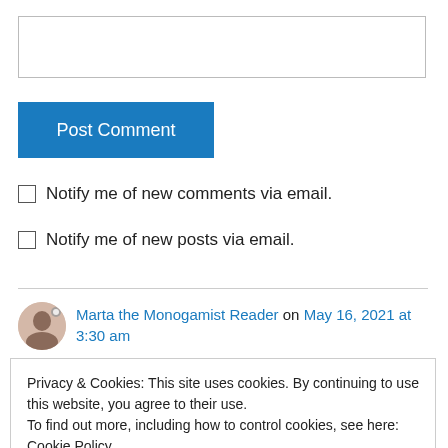[Figure (screenshot): Empty text input box for comment entry]
Post Comment
Notify me of new comments via email.
Notify me of new posts via email.
Marta the Monogamist Reader on May 16, 2021 at 3:30 am
Privacy & Cookies: This site uses cookies. By continuing to use this website, you agree to their use.
To find out more, including how to control cookies, see here: Cookie Policy
Close and accept